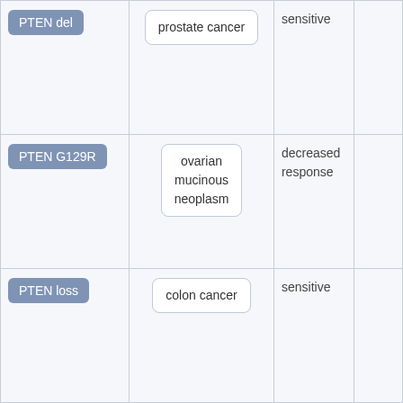| Gene/Variant | Disease | Response |  |
| --- | --- | --- | --- |
| PTEN del | prostate cancer | sensitive |  |
| PTEN G129R | ovarian mucinous neoplasm | decreased response |  |
| PTEN loss | colon cancer | sensitive |  |